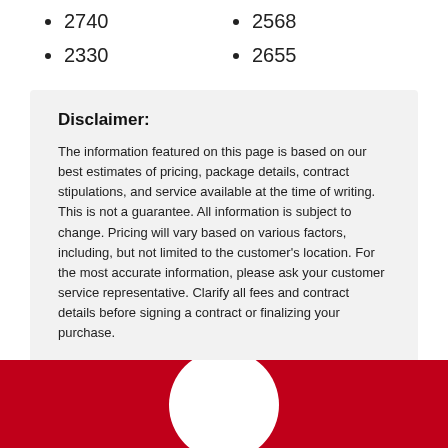2740
2330
2568
2655
Disclaimer:
The information featured on this page is based on our best estimates of pricing, package details, contract stipulations, and service available at the time of writing. This is not a guarantee. All information is subject to change. Pricing will vary based on various factors, including, but not limited to the customer's location. For the most accurate information, please ask your customer service representative. Clarify all fees and contract details before signing a contract or finalizing your purchase.
[Figure (illustration): Red footer bar with white circle logo at the bottom of the page]